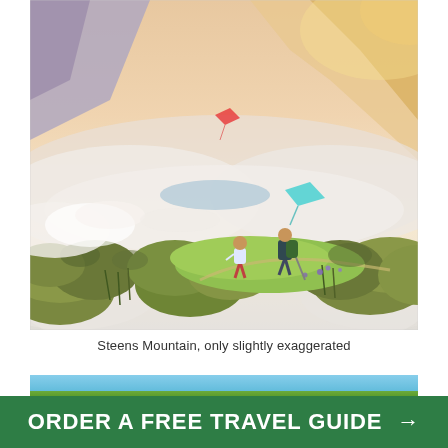[Figure (illustration): Fantasy/stylized illustration of Steens Mountain: two hikers (a child and an adult with backpack and trekking pole) stand on a rocky, moss-covered ridge overlooking a sweeping valley filled with clouds, with mountains in the background and colorful flying creatures (kites/birds) in the golden-lit sky.]
Steens Mountain, only slightly exaggerated
[Figure (photo): Partial strip of a landscape/outdoor photo visible behind the CTA bar, showing blue sky and green terrain.]
ORDER A FREE TRAVEL GUIDE →